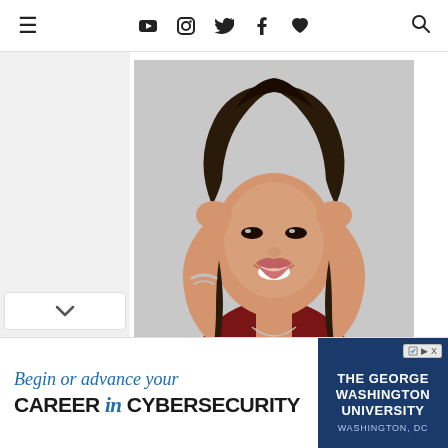Navigation bar with hamburger menu, social icons (YouTube, Instagram, Twitter, Facebook, heart), and search
[Figure (photo): Young woman with dark hair smiling, hands raised near face, wearing a dark red/maroon lace crop top and black skirt with a silver necklace and bracelet, photographed against a light blurred background]
[Figure (infographic): Advertisement banner: 'Begin or advance your CAREER in CYBERSECURITY' for The George Washington University, Washington DC]